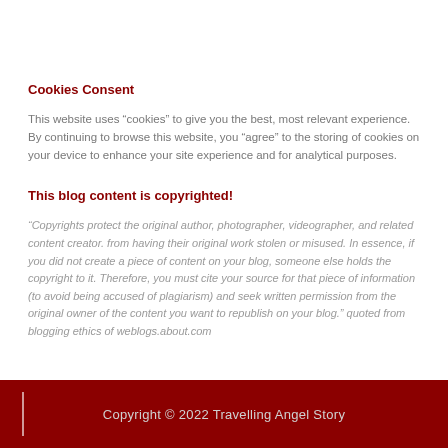Cookies Consent
This website uses “cookies” to give you the best, most relevant experience. By continuing to browse this website, you “agree” to the storing of cookies on your device to enhance your site experience and for analytical purposes.
This blog content is copyrighted!
“Copyrights protect the original author, photographer, videographer, and related content creator. from having their original work stolen or misused. In essence, if you did not create a piece of content on your blog, someone else holds the copyright to it. Therefore, you must cite your source for that piece of information (to avoid being accused of plagiarism) and seek written permission from the original owner of the content you want to republish on your blog.” quoted from blogging ethics of weblogs.about.com
Copyright © 2022 Travelling Angel Story